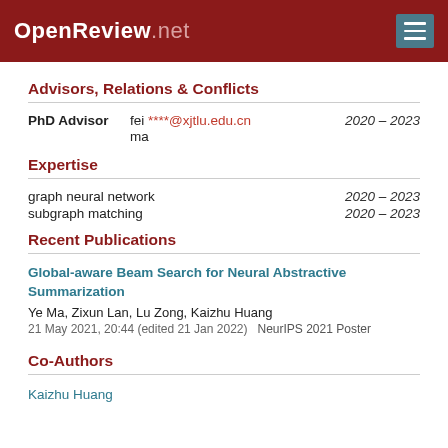OpenReview.net
Advisors, Relations & Conflicts
| Role | Name/Email | Years |
| --- | --- | --- |
| PhD Advisor | fei ****@xjtlu.edu.cn
ma | 2020 – 2023 |
Expertise
| Expertise | Years |
| --- | --- |
| graph neural network | 2020 – 2023 |
| subgraph matching | 2020 – 2023 |
Recent Publications
Global-aware Beam Search for Neural Abstractive Summarization
Ye Ma, Zixun Lan, Lu Zong, Kaizhu Huang
21 May 2021, 20:44 (edited 21 Jan 2022)   NeurIPS 2021 Poster
Co-Authors
Kaizhu Huang